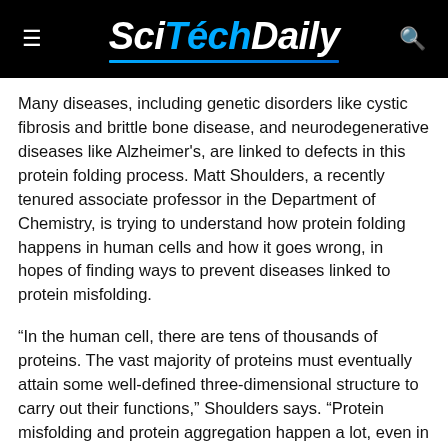SciTechDaily
Many diseases, including genetic disorders like cystic fibrosis and brittle bone disease, and neurodegenerative diseases like Alzheimer's, are linked to defects in this protein folding process. Matt Shoulders, a recently tenured associate professor in the Department of Chemistry, is trying to understand how protein folding happens in human cells and how it goes wrong, in hopes of finding ways to prevent diseases linked to protein misfolding.
“In the human cell, there are tens of thousands of proteins. The vast majority of proteins must eventually attain some well-defined three-dimensional structure to carry out their functions,” Shoulders says. “Protein misfolding and protein aggregation happen a lot, even in healthy cells. My research group’s interest is in how cells